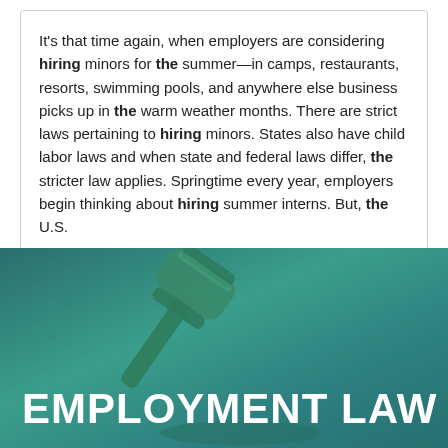It's that time again, when employers are considering hiring minors for the summer—in camps, restaurants, resorts, swimming pools, and anywhere else business picks up in the warm weather months. There are strict laws pertaining to hiring minors. States also have child labor laws and when state and federal laws differ, the stricter law applies. Springtime every year, employers begin thinking about hiring summer interns. But, the U.S.
[Figure (photo): Photo of a wooden judge's gavel on a teal/green gradient background with bold white text reading 'EMPLOYMENT LAW' at the bottom]